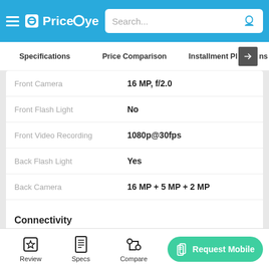PriceOye — Search bar with voice input
Specifications | Price Comparison | Installment Plans
| Specification | Value |
| --- | --- |
| Front Camera | 16 MP, f/2.0 |
| Front Flash Light | No |
| Front Video Recording | 1080p@30fps |
| Back Flash Light | Yes |
| Back Camera | 16 MP + 5 MP + 2 MP |
| Back Video Recording | 1080p@30fps |
Connectivity
| Specification | Value |
| --- | --- |
| Bluetooth | Yes |
Review | Specs | Compare | Request Mobile